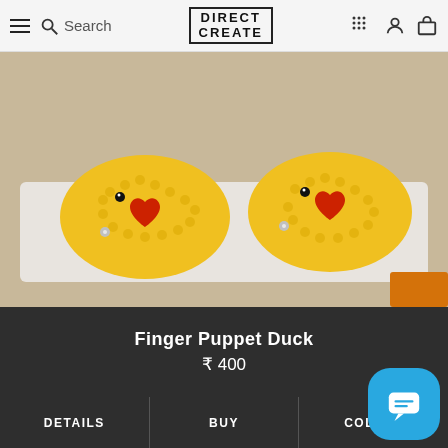Direct Create — navigation bar with hamburger, search, logo, grid, user, and cart icons
[Figure (photo): Close-up photo of two yellow crocheted finger puppet ducks with red heart patches and small bead eyes, placed on a white surface]
Finger Puppet Duck
₹ 400
DETAILS
BUY
COLLAB